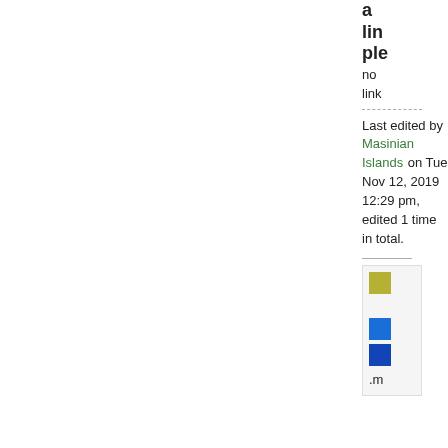a link ple no link
Last edited by Masinian Islands on Tue Nov 12, 2019 12:29 pm, edited 1 time in total.
[Figure (infographic): Three color swatches: olive/yellow-green square, medium blue square, dark blue square, followed by text '.m']